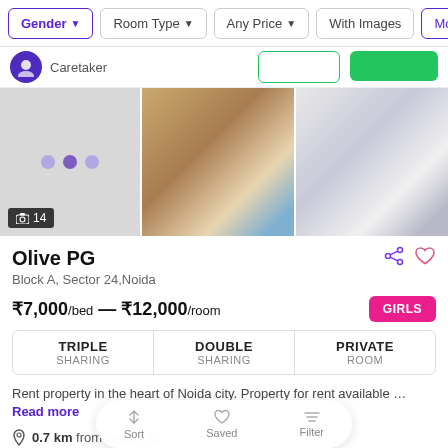Gender | Room Type | Any Price | With Images | Mo
Caretaker
[Figure (screenshot): Property listing image gallery showing three panels: left panel with purple dots on grey background, middle panel blurred bedroom photo, right panel blurred white room photo. Photo count badge shows 14.]
Olive PG
Block A, Sector 24,Noida
₹7,000/bed — ₹12,000/room
TRIPLE SHARING | DOUBLE SHARING | PRIVATE ROOM
Rent property in the heart of Noida city. Property for rent available … Read more
0.7 km from Sector 22
Sort | Saved | Filter
Sandaan